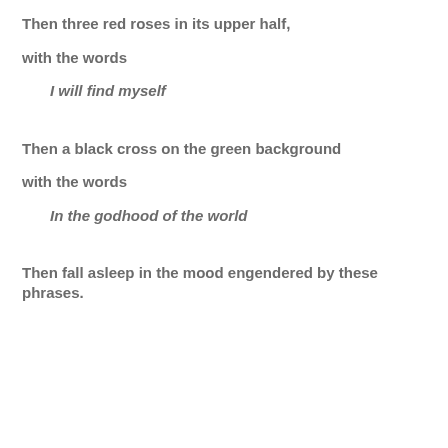Then three red roses in its upper half,
with the words
I will find myself
Then a black cross on the green background
with the words
In the godhood of the world
Then fall asleep in the mood engendered by these phrases.